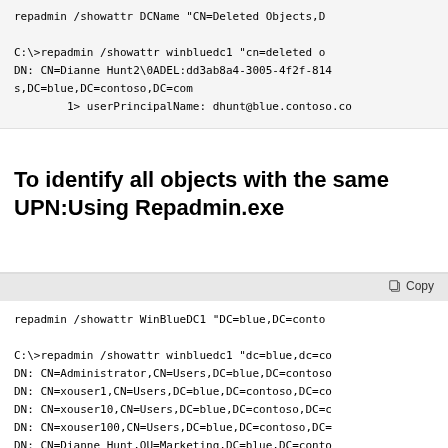[Figure (screenshot): Code block showing repadmin /showattr DCName command and output with DN for Dianne Hunt2 deleted object, userPrincipalName dhunt@blue.contoso.com]
To identify all objects with the same UPN:Using Repadmin.exe
[Figure (screenshot): Code block with Copy button showing repadmin /showattr WinBlueDC1 command and output listing multiple DN entries including Administrator, xouser1, xouser10, xouser100, Dianne Hunt, Dianne Hunt2]